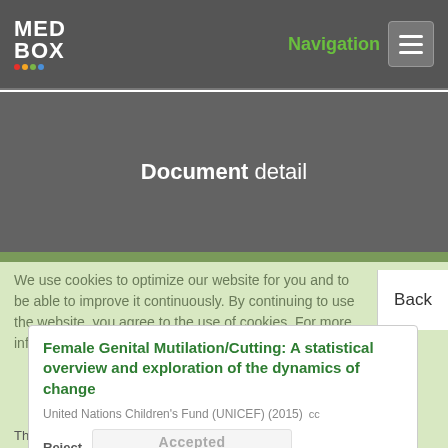MED BOX — Navigation
Document detail
We use cookies to optimize our website for you and to be able to improve it continuously. By continuing to use the website, you agree to the use of cookies. For more information about cookies, please see our privacy policy.
Female Genital Mutilation/Cutting: A statistical overview and exploration of the dynamics of change
United Nations Children's Fund (UNICEF) (2015)   cc
Reject   Accepted   Add to my MEDBOX
Download  (108)
This report is a comprehensive statistical